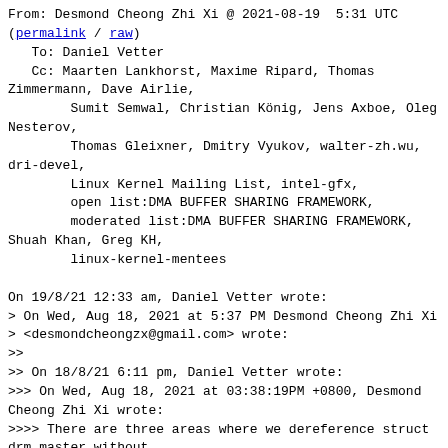From: Desmond Cheong Zhi Xi @ 2021-08-19  5:31 UTC
(permalink / raw)
   To: Daniel Vetter
   Cc: Maarten Lankhorst, Maxime Ripard, Thomas
Zimmermann, Dave Airlie,
        Sumit Semwal, Christian König, Jens Axboe, Oleg
Nesterov,
        Thomas Gleixner, Dmitry Vyukov, walter-zh.wu,
dri-devel,
        Linux Kernel Mailing List, intel-gfx,
        open list:DMA BUFFER SHARING FRAMEWORK,
        moderated list:DMA BUFFER SHARING FRAMEWORK,
Shuah Khan, Greg KH,
        linux-kernel-mentees

On 19/8/21 12:33 am, Daniel Vetter wrote:
> On Wed, Aug 18, 2021 at 5:37 PM Desmond Cheong Zhi Xi
> <desmondcheongzx@gmail.com> wrote:
>>
>> On 18/8/21 6:11 pm, Daniel Vetter wrote:
>>> On Wed, Aug 18, 2021 at 03:38:19PM +0800, Desmond
Cheong Zhi Xi wrote:
>>>> There are three areas where we dereference struct
drm_master without
>>>> checking if the pointer is non-NULL.
>>>>
>>>> 1. drm_getmagic is called from the ioctl_handler.
Since
>>>> DRM_IOCTL_GET_MAGIC has no ioctl flags,
drm_getmagic is run without